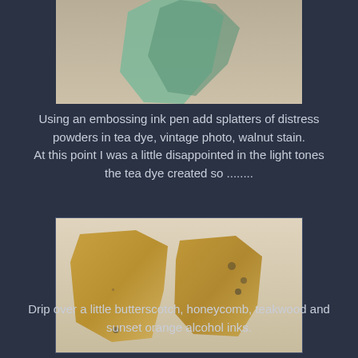[Figure (photo): Close-up photo of craft pieces (puzzle-like shapes) with colorful coating on textured fabric background, partially cropped at top]
Using an embossing ink pen add splatters of distress powders in tea dye, vintage photo, walnut stain. At this point I was a little disappointed in the light tones the tea dye created so ........
[Figure (photo): Two tan/gold textured craft pieces shaped like irregular letters or puzzle pieces, placed on a linen/fabric background, coated with distress powders]
Drip over a little butterscotch, honeycomb, teakwood and sunset orange alcohol inks.